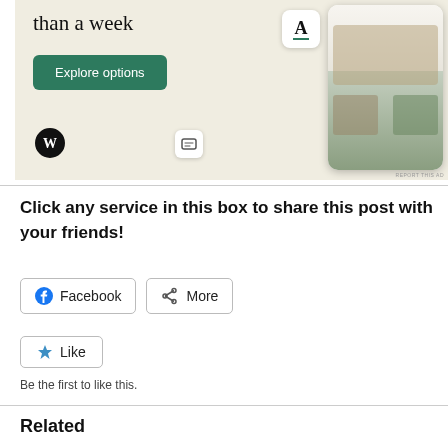[Figure (screenshot): Advertisement banner showing 'than a week' heading with an Explore options green button, WordPress logo, and a phone mockup displaying a food/recipe app interface with the letter A badge. 'REPORT THIS AD' text in bottom right.]
Click any service in this box to share this post with your friends!
[Figure (screenshot): Share buttons row: Facebook button with Facebook icon, and More button with share icon]
[Figure (screenshot): Like button with blue star icon]
Be the first to like this.
Related